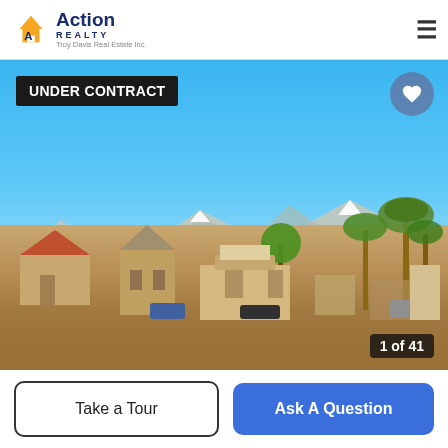[Figure (logo): Action Realty - Troy Davis Real Estate Inc. logo with orange house icon]
≡
[Figure (photo): Aerial/ground-level photo of a vacant lot property with desert scrub foreground, residential buildings in midground, palm trees, snow-capped mountains in background under bright blue sky. 'UNDER CONTRACT' badge in top-left. Heart icon in top-right. '1 of 41' counter in bottom-right.]
UNDER CONTRACT
1 of 41
Take a Tour
Ask A Question